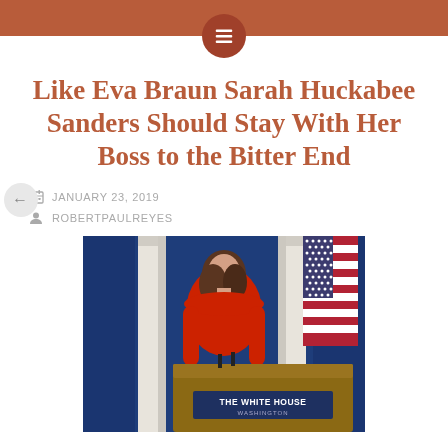Like Eva Braun Sarah Huckabee Sanders Should Stay With Her Boss to the Bitter End
JANUARY 23, 2019
ROBERTPAULREYES
[Figure (photo): Woman in red top standing at a White House podium, with an American flag and blue wall with white columns in the background. The podium reads 'THE WHITE HOUSE WASHINGTON'.]